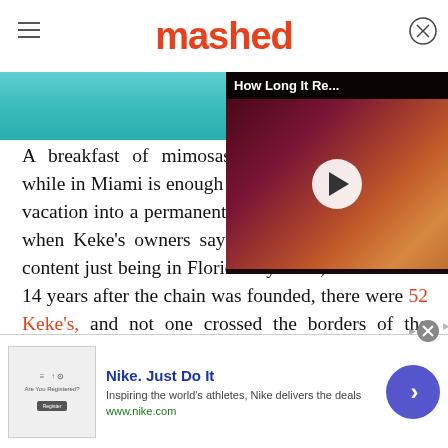mashed
[Figure (photo): Turquoise pool water hero image strip]
[Figure (screenshot): Video overlay thumbnail with play button and title 'How Long It Re...']
A breakfast of mimosas and while in Miami is enough to consider turning the vacation into a permanent stay. So, we totally get it when Keke's owners say that they are absolutely content just being in Florida. By 2022, that's almost 14 years after the chain was founded, there were 52 Keke's, and not one crossed the borders of the peninsula State. Keke's Mo... one of the founders of the chain
[Figure (infographic): Nike advertisement banner: Nike. Just Do It - Inspiring the world's athletes, Nike delivers the deals - www.nike.com]